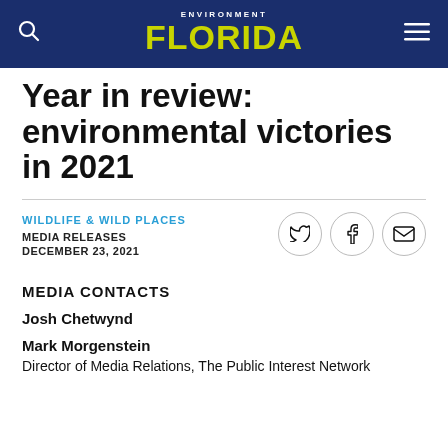ENVIRONMENT FLORIDA
Year in review: environmental victories in 2021
WILDLIFE & WILD PLACES
MEDIA RELEASES
DECEMBER 23, 2021
MEDIA CONTACTS
Josh Chetwynd
Mark Morgenstein
Director of Media Relations, The Public Interest Network